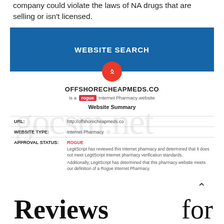company could violate the laws of NA drugs that are selling or isn't licensed.
[Figure (screenshot): Website Search screenshot showing OFFSHORECHEAPMEDS.CO labeled as a rogue internet pharmacy website with approval status ROGUE, website type Internet Pharmacy, URL http://offshorecheapmeds.co, and LegitScript review notes.]
Reviews for OffshoreCheapMeds.co